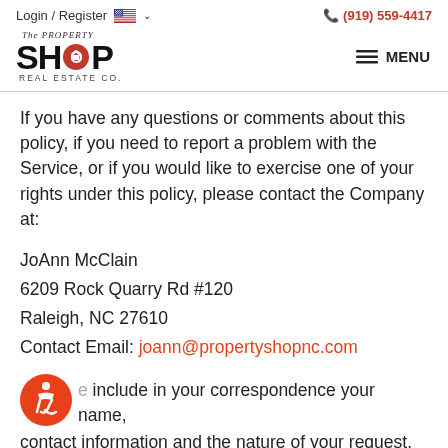Login / Register  (919) 559-4417
[Figure (logo): The Property Shop Real Estate Co. logo with red circle containing a house/key icon]
If you have any questions or comments about this policy, if you need to report a problem with the Service, or if you would like to exercise one of your rights under this policy, please contact the Company at:
JoAnn McClain
6209 Rock Quarry Rd #120
Raleigh, NC 27610
Contact Email: joann@propertyshopnc.com
Please include in your correspondence your name, contact information and the nature of your request.